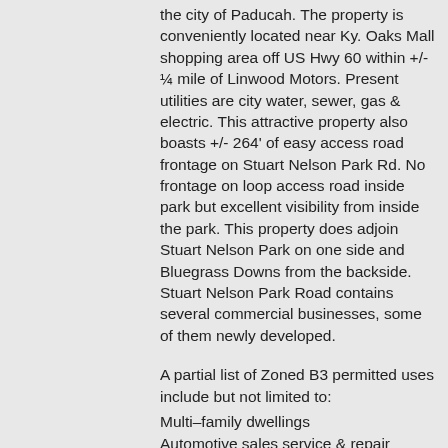the city of Paducah. The property is conveniently located near Ky. Oaks Mall shopping area off US Hwy 60 within +/- ¼ mile of Linwood Motors. Present utilities are city water, sewer, gas & electric. This attractive property also boasts +/- 264' of easy access road frontage on Stuart Nelson Park Rd. No frontage on loop access road inside park but excellent visibility from inside the park. This property does adjoin Stuart Nelson Park on one side and Bluegrass Downs from the backside. Stuart Nelson Park Road contains several commercial businesses, some of them newly developed.
A partial list of Zoned B3 permitted uses include but not limited to:
Multi–family dwellings
Automotive sales service & repair
Wholesale establishments
Light industrial (as approved by Planning Commission)